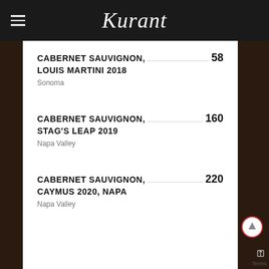Kurant
CABERNET SAUVIGNON, LOUIS MARTINI 2018 — Sonoma — 58
CABERNET SAUVIGNON, STAG'S LEAP 2019 — Napa Valley — 160
CABERNET SAUVIGNON, CAYMUS 2020, NAPA — Napa Valley — 220